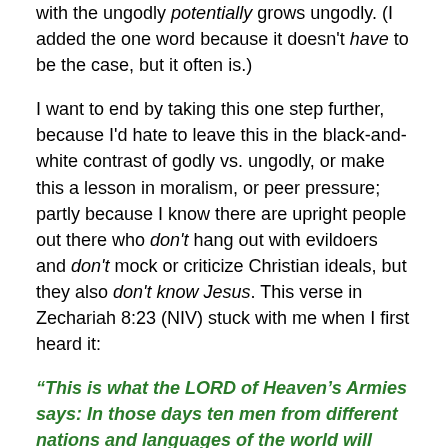with the ungodly potentially grows ungodly. (I added the one word because it doesn't have to be the case, but it often is.)
I want to end by taking this one step further, because I'd hate to leave this in the black-and-white contrast of godly vs. ungodly, or make this a lesson in moralism, or peer pressure; partly because I know there are upright people out there who don't hang out with evildoers and don't mock or criticize Christian ideals, but they also don't know Jesus. This verse in Zechariah 8:23 (NIV) stuck with me when I first heard it:
“This is what the LORD of Heaven’s Armies says: In those days ten men from different nations and languages of the world will clutch at the sleeve of one Jew. And they will say, ‘Please let us walk with you,